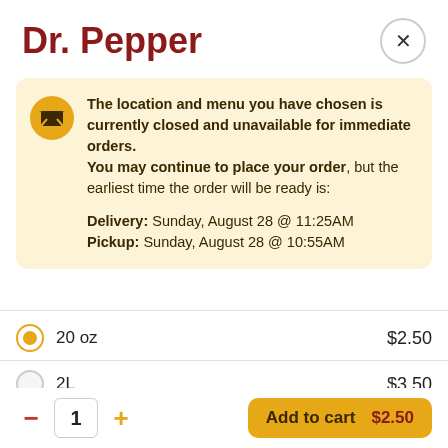Dr. Pepper
The location and menu you have chosen is currently closed and unavailable for immediate orders. You may continue to place your order, but the earliest time the order will be ready is:

Delivery: Sunday, August 28 @ 11:25AM
Pickup: Sunday, August 28 @ 10:55AM
20 oz  $2.50
2L  $3.50
1  Add to cart  $2.50